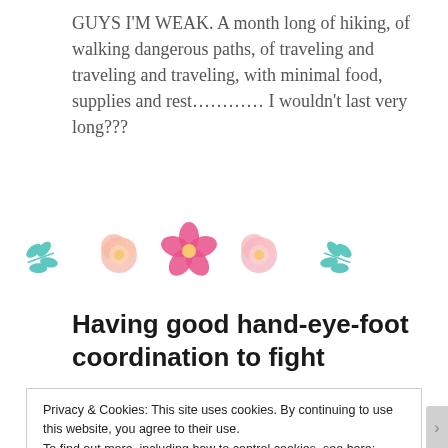GUYS I'M WEAK. A month long of hiking, of walking dangerous paths, of traveling and traveling and traveling, with minimal food, supplies and rest………… I wouldn't last very long???
[Figure (illustration): Decorative row of watercolor flowers and leaves: teal leaf branch, peach peony, pink hibiscus, pink/peach peony, teal leaf branch]
Having good hand-eye-foot coordination to fight
Privacy & Cookies: This site uses cookies. By continuing to use this website, you agree to their use.
To find out more, including how to control cookies, see here: Cookie Policy
Close and accept